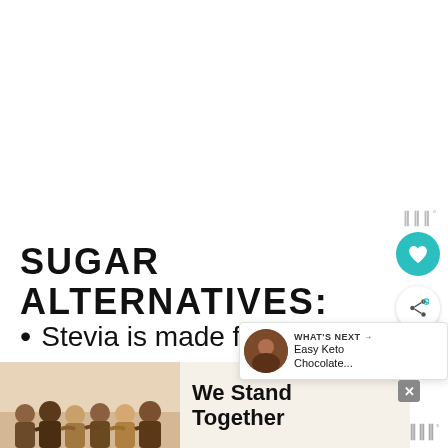[Figure (photo): White/blank area at top of page where an image would appear]
SUGAR ALTERNATIVES:
Stevia is made from the Stevia plant... like to use both the granulated and ...
[Figure (photo): Advertisement banner showing group of people hugging from behind with text 'We Stand Together']